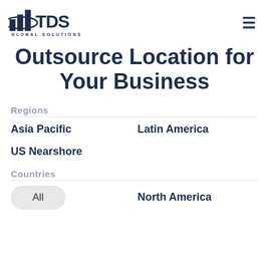[Figure (logo): TDS Global Solutions logo - dark blue bar chart icon with TDS text and 'GLOBAL SOLUTIONS' below]
Outsource Location for Your Business
Regions
Asia Pacific
Latin America
US Nearshore
Countries
All
North America